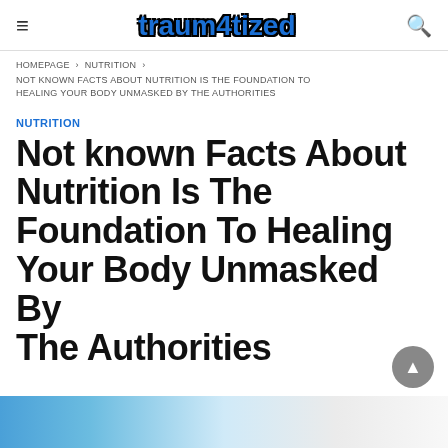≡  traum4tized  🔍
HOMEPAGE › NUTRITION › NOT KNOWN FACTS ABOUT NUTRITION IS THE FOUNDATION TO HEALING YOUR BODY UNMASKED BY THE AUTHORITIES
NUTRITION
Not known Facts About Nutrition Is The Foundation To Healing Your Body Unmasked By The Authorities
[Figure (photo): Bottom portion of a photo showing a person, partially visible, light blue and white tones]